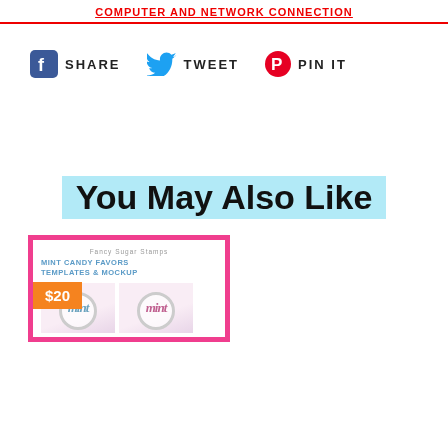COMPUTER AND NETWORK CONNECTION
SHARE   TWEET   PIN IT
You May Also Like
[Figure (other): Product card for Mint Candy Favors Templates & Mockup, priced at $20, with pink border and orange price badge]